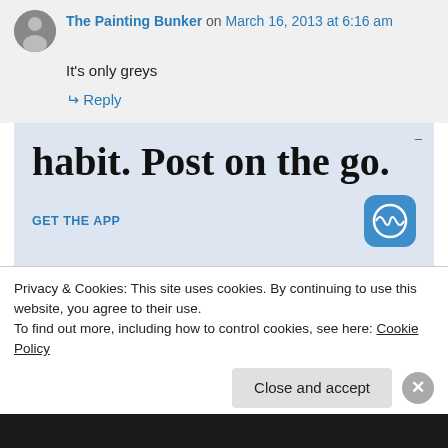The Painting Bunker on March 16, 2013 at 6:16 am
It's only greys
↵ Reply
[Figure (illustration): WordPress advertisement banner with large serif text reading 'habit. Post on the go.' with 'GET THE APP' call to action and WordPress logo]
Privacy & Cookies: This site uses cookies. By continuing to use this website, you agree to their use.
To find out more, including how to control cookies, see here: Cookie Policy
Close and accept